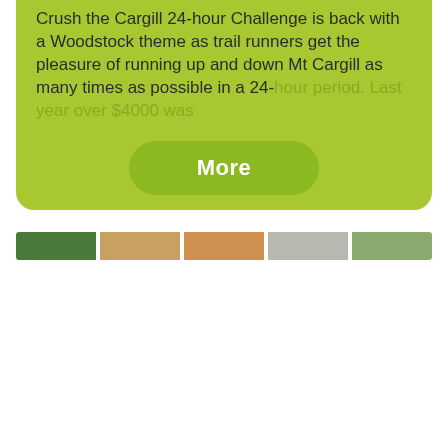Crush the Cargill 24-hour Challenge is back with a Woodstock theme as trail runners get the pleasure of running up and down Mt Cargill as many times as possible in a 24-hour period. Last year over $4000 was
[Figure (other): A 'More' button with rounded pill shape on green background]
[Figure (photo): A horizontal strip of thumbnail photos showing food/nature scenes]